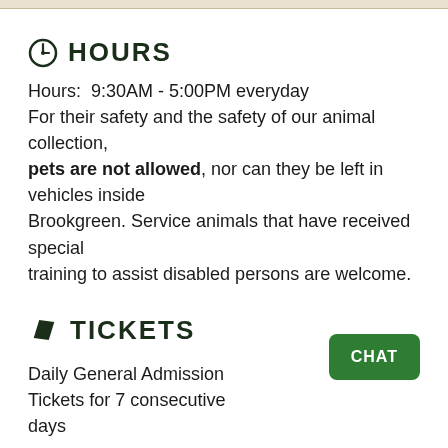HOURS
Hours:  9:30AM - 5:00PM everyday
For their safety and the safety of our animal collection, pets are not allowed, nor can they be left in vehicles inside Brookgreen. Service animals that have received special training to assist disabled persons are welcome.
TICKETS
Daily General Admission Tickets for 7 consecutive days
Children 3 and under    Free
Children 4-12